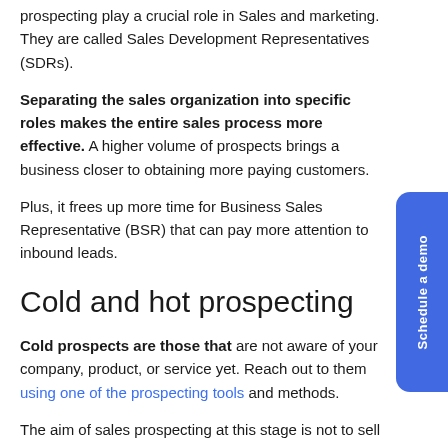prospecting play a crucial role in Sales and marketing. They are called Sales Development Representatives (SDRs).
Separating the sales organization into specific roles makes the entire sales process more effective. A higher volume of prospects brings a business closer to obtaining more paying customers.
Plus, it frees up more time for Business Sales Representative (BSR) that can pay more attention to inbound leads.
Cold and hot prospecting
Cold prospects are those that are not aware of your company, product, or service yet. Reach out to them using one of the prospecting tools and methods.
The aim of sales prospecting at this stage is not to sell